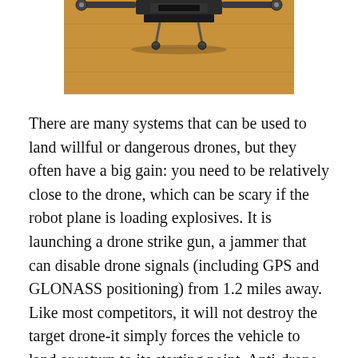[Figure (photo): Photograph of a drone or drone-related equipment on a wooden floor surface, viewed from above, showing parts of the device and what appear to be landing gear or arms against a wooden background.]
There are many systems that can be used to land willful or dangerous drones, but they often have a big gain: you need to be relatively close to the drone, which can be scary if the robot plane is loading explosives. It is launching a drone strike gun, a jammer that can disable drone signals (including GPS and GLONASS positioning) from 1.2 miles away. Like most competitors, it will not destroy the target drone-it simply forces the vehicle to land or return to its starting point. Anti-drone teams can not only disable threats from a safe distance, they can also locate their pilots.